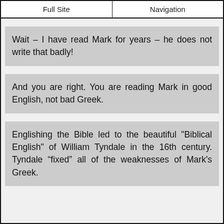Full Site | Navigation
Wait – I have read Mark for years – he does not write that badly!
And you are right. You are reading Mark in good English, not bad Greek.
Englishing the Bible led to the beautiful "Biblical English" of William Tyndale in the 16th century. Tyndale “fixed” all of the weaknesses of Mark's Greek.